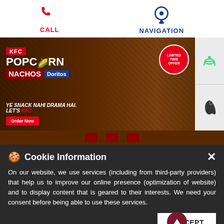[Figure (screenshot): KFC website screenshot showing CALL icon (red phone) and NAVIGATION icon (blue location pin) at top]
[Figure (photo): KFC Popcorn Nachos Doritos promotional banner. Text: 'KFC POPCORN NACHOS Doritos', 'LIMITED TIME OFFER', 'YE SNACK NAHI DRAMA HAI. LET'S KFC', 'Order Now'. Image shows popcorn chicken, nachos, dipping sauces, and a Pepsi drink.]
[Figure (infographic): Android and Apple app download buttons on the right side of the banner]
Cookie Information
On our website, we use services (including from third-party providers) that help us to improve our online presence (optimization of website) and to display content that is geared to their interests. We need your consent before being able to use these services.
We are grateful for the chance to make a positive difference to...